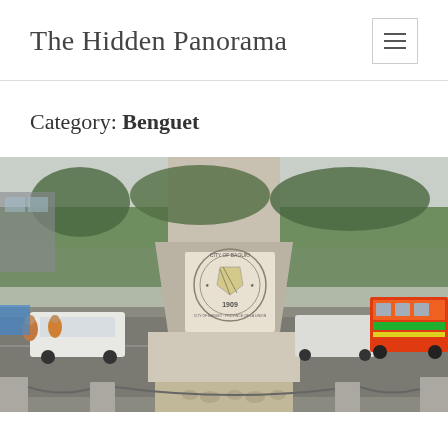The Hidden Panorama
Category: Benguet
[Figure (photo): City of Baguio monument/obelisk with seal reading 'City of Baguio 1909' in the center, surrounded by busy street with cars, jeepney, and trees in the background. Stone relief sculpture at the base showing figures. Stone bollards with chains in the foreground.]